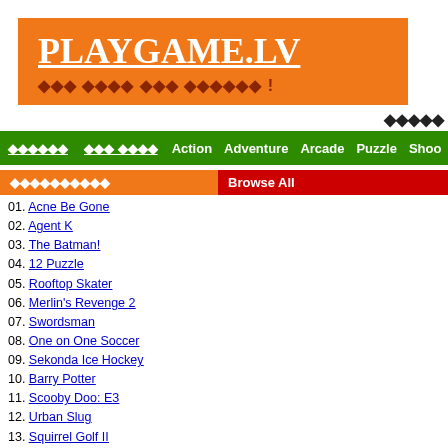PLAYGAME.LV
??? ???? ??? ?????? !
??????
?????? ??? ???? Action Adventure Arcade Puzzle Shoo...
??????????
Browse All
01. Acne Be Gone
02. Agent K
03. The Batman!
04. 12 Puzzle
05. Rooftop Skater
06. Merlin's Revenge 2
07. Swordsman
08. One on One Soccer
09. Sekonda Ice Hockey
10. Barry Potter
11. Scooby Doo: E3
12. Urban Slug
13. Squirrel Golf II
14. Video Poker
15. Boss Monster: HD
16. Roulette
17. Los Simpsons
18. 60 seconds
19. Warthog Launch
20. Terrain: Chapter 2
[Figure (illustration): Blob Farm game thumbnail image]
Blob Farm
Drag the blobs around away from the g bal...